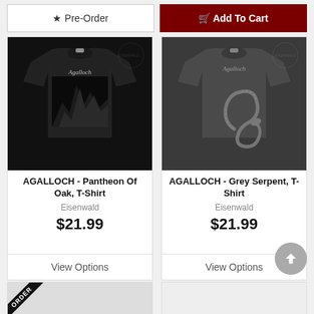[Figure (other): Pre-Order button with star icon]
[Figure (other): Add To Cart button with cart icon in dark red]
[Figure (photo): Black t-shirt with Agalloch logo and Pantheon of Oak artwork, watermarked with Eisenwald logo]
AGALLOCH - Pantheon Of Oak, T-Shirt
Eisenwald
$21.99
View Options
[Figure (photo): Dark grey t-shirt with Agalloch logo and Grey Serpent artwork, watermarked with Eisenwald logo]
AGALLOCH - Grey Serpent, T-Shirt
Eisenwald
$21.99
View Options
[Figure (other): Partially visible product card with PRE-ORDER ribbon banner in bottom left]
[Figure (other): Partially visible product card with light background]